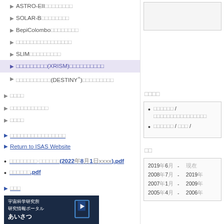▶ASTRO-EII（日本語）
▶SOLAR-B（日本語）
▶BepiColombo（日本語）
▶（日本語）xxxxxxxxxxxxxxxxx
▶SLIM（日本語）
▶（XRISM）（日本語） [highlighted]
▶（DESTINY+）（日本語）
▶日本語
▶日本語（xxxxxxxxxx）
▶日本語
▶（日本語xxxxxxxxxxxxxx）
▶Return to ISAS Website
• xxxxxxxxxxxx xxxxxxxxx(2022年8月1日xxxx).pdf
• xxxxxxx.pdf
▶日本語
[Figure (photo): 宇宙科学研究所 研究情報ポータル あいさつ - dark navy background with logo]
日本語
• xxxxxxxx / xxxxxxxxxxxxxxxxxxx
• xxxxxxxx / xxx /
日本
| 2019年6月 | - | 現在 |
| 2008年7月 | - | 2019年 |
| 2007年1月 | - | 2009年 |
| 2005年4月 | - | 2006年 |